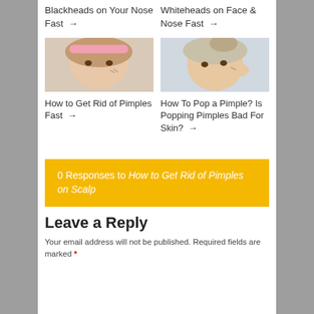Blackheads on Your Nose Fast →
Whiteheads on Face & Nose Fast →
[Figure (photo): Woman with headband squeezing a pimple on her cheek]
How to Get Rid of Pimples Fast →
[Figure (photo): Woman popping a pimple on her cheek]
How To Pop a Pimple? Is Popping Pimples Bad For Skin? →
0 Responses to How to Get Rid of Pimples on Scalp
Leave a Reply
Your email address will not be published. Required fields are marked *